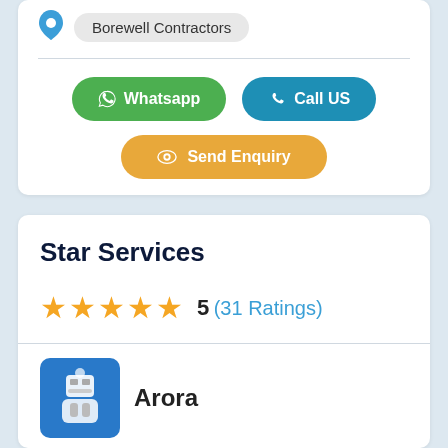Borewell Contractors
Whatsapp
Call US
Send Enquiry
Star Services
5 (31 Ratings)
Arora
Kurukshetra